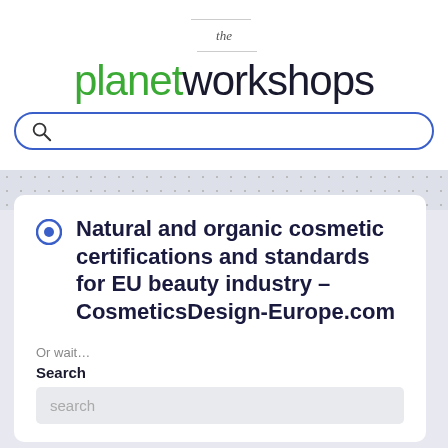[Figure (logo): The Planet Workshops logo with 'the' in small italic text above, 'planet' in green and 'workshops' in dark navy, large sans-serif font]
[Figure (screenshot): Search bar with magnifying glass icon and blue rounded border]
Natural and organic cosmetic certifications and standards for EU beauty industry – CosmeticsDesign-Europe.com
Or wait...
Search
search